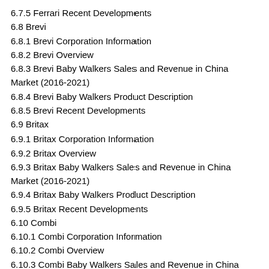6.7.5 Ferrari Recent Developments
6.8 Brevi
6.8.1 Brevi Corporation Information
6.8.2 Brevi Overview
6.8.3 Brevi Baby Walkers Sales and Revenue in China Market (2016-2021)
6.8.4 Brevi Baby Walkers Product Description
6.8.5 Brevi Recent Developments
6.9 Britax
6.9.1 Britax Corporation Information
6.9.2 Britax Overview
6.9.3 Britax Baby Walkers Sales and Revenue in China Market (2016-2021)
6.9.4 Britax Baby Walkers Product Description
6.9.5 Britax Recent Developments
6.10 Combi
6.10.1 Combi Corporation Information
6.10.2 Combi Overview
6.10.3 Combi Baby Walkers Sales and Revenue in China Market (2016-2021)
6.10.4 Combi Baby Walkers Product Description